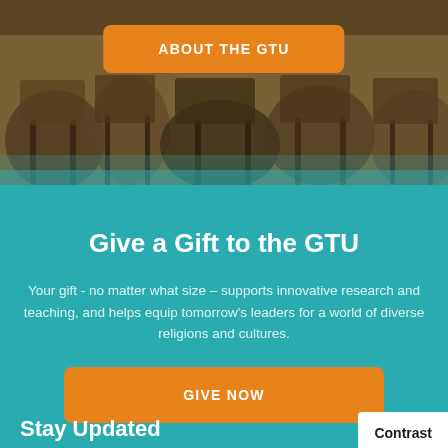[Figure (photo): Blurred background photo of library chairs and wooden furniture]
ABOUT THE GTU
Give a Gift to the GTU
Your gift - no matter what size – supports innovative research and teaching, and helps equip tomorrow's leaders for a world of diverse religions and cultures.
GIVE NOW
Stay Updated
Contrast